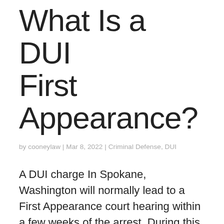What Is a DUI First Appearance?
by cooneylaw | Mar 8, 2022 | Criminal Defense, DUI
A DUI charge In Spokane, Washington will normally lead to a First Appearance court hearing within a few weeks of the arrest. During this hearing the judge will recite your constitutional rights and the potential consequences of a DUI conviction, which may include jail time, house arrest, fines, loss of driver's license, ignition interlock